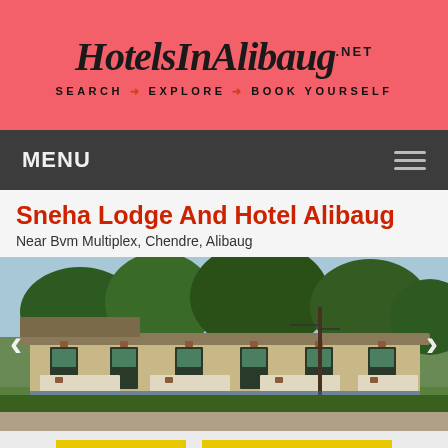[Figure (logo): HotelsInAlibaug.net logo with tagline SEARCH → EXPLORE → BOOK YOURSELF on coral/salmon pink background]
MENU
Sneha Lodge And Hotel Alibaug
Near Bvm Multiplex, Chendre, Alibaug
[Figure (photo): Exterior photograph of Sneha Lodge And Hotel Alibaug showing a low single-storey building with multiple room doors and windows, green trees in background, with left and right navigation arrows]
Get Quote
Request Callback